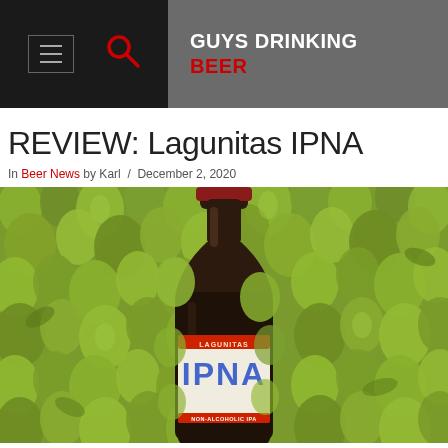GUYS DRINKING BEER
REVIEW: Lagunitas IPNA
In Beer News by Karl / December 2, 2020
[Figure (photo): A dark glass bottle of Lagunitas IPNA non-alcoholic IPA surrounded by fresh green hop cones]